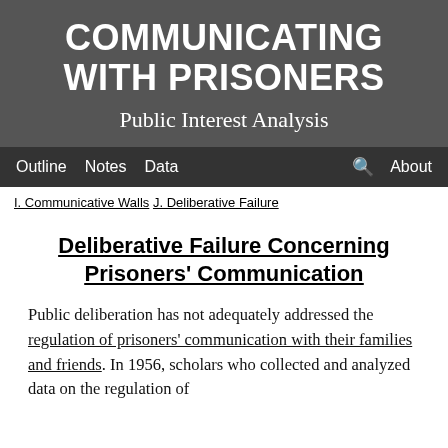COMMUNICATING WITH PRISONERS
Public Interest Analysis
Outline   Notes   Data   About
I. Communicative Walls   J. Deliberative Failure
Deliberative Failure Concerning Prisoners' Communication
Public deliberation has not adequately addressed the regulation of prisoners' communication with their families and friends. In 1956, scholars who collected and analyzed data on the regulation of